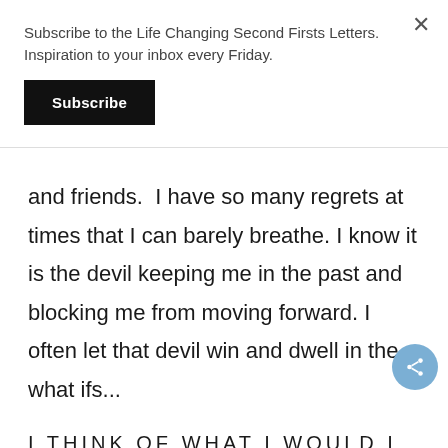Subscribe to the Life Changing Second Firsts Letters. Inspiration to your inbox every Friday.
Subscribe
and friends.  I have so many regrets at times that I can barely breathe. I know it is the devil keeping me in the past and blocking me from moving forward. I often let that devil win and dwell in the what ifs...
I THINK OF WHAT I WOULD I DO IF I HAD JUST A LITTLE MORE TIME.
Would I tell my husband how much I love